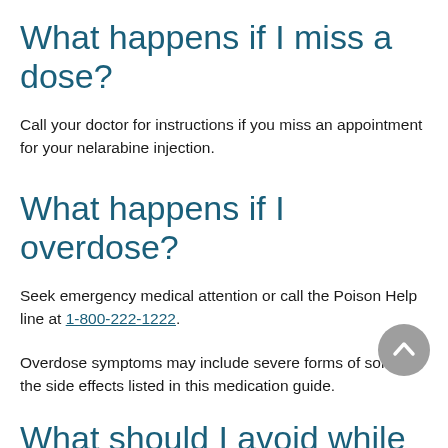What happens if I miss a dose?
Call your doctor for instructions if you miss an appointment for your nelarabine injection.
What happens if I overdose?
Seek emergency medical attention or call the Poison Help line at 1-800-222-1222.
Overdose symptoms may include severe forms of some of the side effects listed in this medication guide.
What should I avoid while receiving nelarabine?